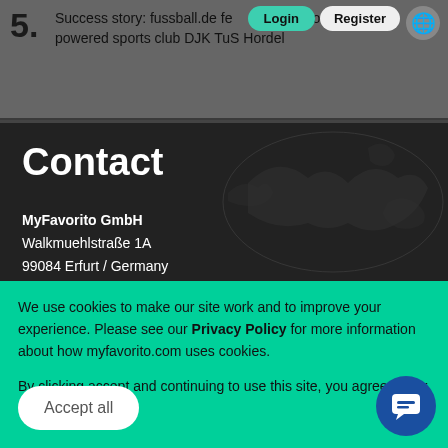5. Success story: fussball.de features myfavorito powered sports club DJK TuS Hordel
[Figure (logo): MyFavorito logo in green italic bold text with TM mark on dark background, with hamburger menu icon]
Contact
MyFavorito GmbH
Walkmuehlstraße 1A
99084 Erfurt / Germany
We use cookies to make our site work and to improve your experience. Please see our Privacy Policy for more information about how myfavorito.com uses cookies.

By clicking accept and continuing to use this site, you agree to our use of cookies.